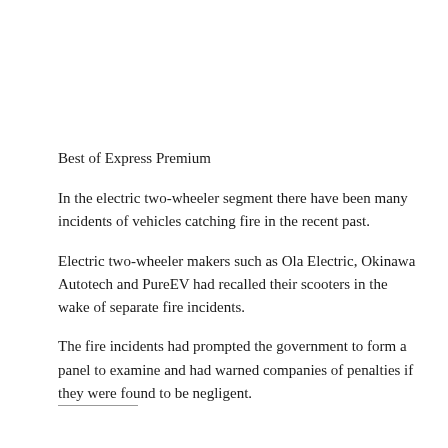Best of Express Premium
In the electric two-wheeler segment there have been many incidents of vehicles catching fire in the recent past.
Electric two-wheeler makers such as Ola Electric, Okinawa Autotech and PureEV had recalled their scooters in the wake of separate fire incidents.
The fire incidents had prompted the government to form a panel to examine and had warned companies of penalties if they were found to be negligent.